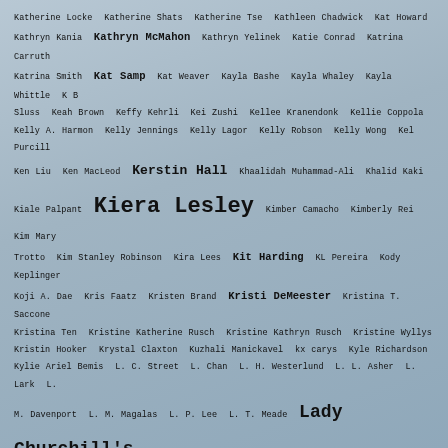Katherine Locke Katherine Shats Katherine Tse Kathleen Chadwick Kat Howard Kathryn Kania Kathryn McMahon Kathryn Yelinek Katie Conrad Katrina Carruth Katrina Smith Kat Samp Kat Weaver Kayla Bashe Kayla Whaley Kayla Whittle K B Sluss Keah Brown Keffy Kehrli Kei Zushi Kellee Kranendonk Kellie Coppola Kelly A. Harmon Kelly Jennings Kelly Lagor Kelly Robson Kelly Wong Kel Purcill Ken Liu Ken MacLeod Kerstin Hall Khaalidah Muhammad-Ali Khalid Kaki Kiale Palpant Kiera Lesley Kimber Camacho Kimberly Rei Kim Mary Trotto Kim Stanley Robinson Kira Lees Kit Harding KL Pereira Kody Keplinger Koji A. Dae Kris Faatz Kristen Brand Kristi DeMeester Kristina T. Saccone Kristina Ten Kristine Katherine Rusch Kristine Kathryn Rusch Kristine Wyllys Kristin Hooker Krystal Claxton Kuzhali Manickavel kx carys Kyle Richardson Kylie Ariel Bemis L. C. Street L. Chan L. H. Westerlund L. L. Asher L. Lark L. M. Davenport L. M. Magalas L. P. Lee L. T. Meade Lady Churchill's Rosebud Wristlet Laine Bell Laine Perez Lamplight Laney Gaughan Lara Ek Lara Elena Donnelly Lara Kristin Herndon LaShawn M. Wanak Laura Duerr Laura J. Campbell Laura Muetzelfeldt Laura VanArendonk Baugh Laurel Lanthron